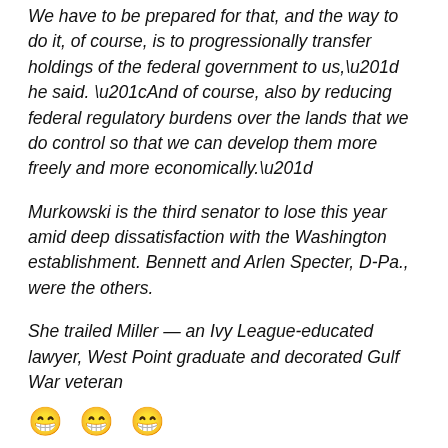We have to be prepared for that, and the way to do it, of course, is to progressionally transfer holdings of the federal government to us,” he said. “And of course, also by reducing federal regulatory burdens over the lands that we do control so that we can develop them more freely and more economically.”
Murkowski is the third senator to lose this year amid deep dissatisfaction with the Washington establishment. Bennett and Arlen Specter, D-Pa., were the others.
She trailed Miller — an Ivy League-educated lawyer, West Point graduate and decorated Gulf War veteran
😁 😁 😁